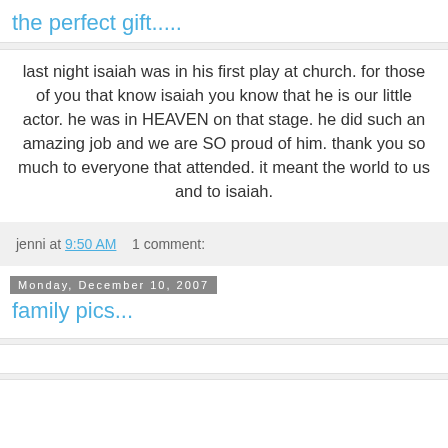the perfect gift.....
last night isaiah was in his first play at church. for those of you that know isaiah you know that he is our little actor. he was in HEAVEN on that stage. he did such an amazing job and we are SO proud of him. thank you so much to everyone that attended. it meant the world to us and to isaiah.
jenni at 9:50 AM    1 comment:
Monday, December 10, 2007
family pics...